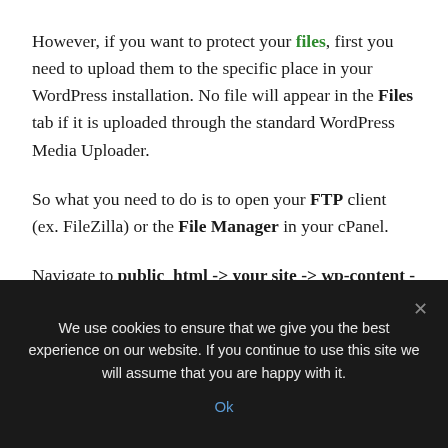However, if you want to protect your files, first you need to upload them to the specific place in your WordPress installation. No file will appear in the Files tab if it is uploaded through the standard WordPress Media Uploader.
So what you need to do is to open your FTP client (ex. FileZilla) or the File Manager in your cPanel.
Navigate to public_html -> your site -> wp-content -> uploads -> zm_protect. Upload here
We use cookies to ensure that we give you the best experience on our website. If you continue to use this site we will assume that you are happy with it.
Ok